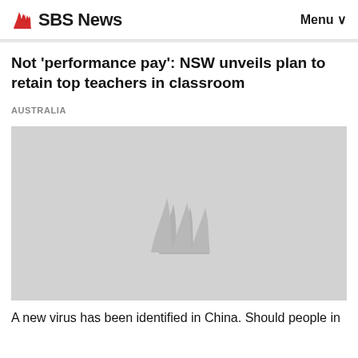SBS News | Menu
Not 'performance pay': NSW unveils plan to retain top teachers in classroom
AUSTRALIA
[Figure (logo): SBS News placeholder image with SBS logo watermark in grey on light grey background]
A new virus has been identified in China. Should people in